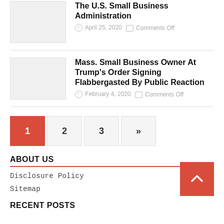The U.S. Small Business Administration
April 25, 2020   Comments Off
Mass. Small Business Owner At Trump's Order Signing Flabbergasted By Public Reaction
February 4, 2020   Comments Off
1  2  3  »
ABOUT US
Disclosure Policy
Sitemap
RECENT POSTS